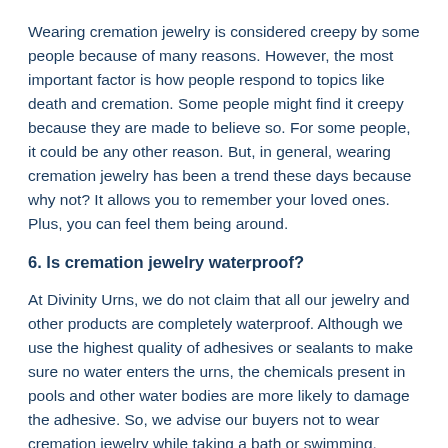Wearing cremation jewelry is considered creepy by some people because of many reasons. However, the most important factor is how people respond to topics like death and cremation. Some people might find it creepy because they are made to believe so. For some people, it could be any other reason. But, in general, wearing cremation jewelry has been a trend these days because why not? It allows you to remember your loved ones. Plus, you can feel them being around.
6. Is cremation jewelry waterproof?
At Divinity Urns, we do not claim that all our jewelry and other products are completely waterproof. Although we use the highest quality of adhesives or sealants to make sure no water enters the urns, the chemicals present in pools and other water bodies are more likely to damage the adhesive. So, we advise our buyers not to wear cremation jewelry while taking a bath or swimming.